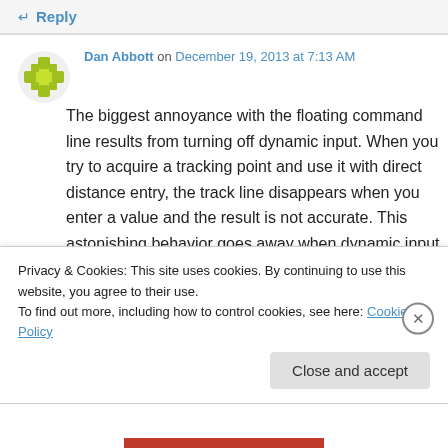↵ Reply
Dan Abbott on December 19, 2013 at 7:13 AM
The biggest annoyance with the floating command line results from turning off dynamic input. When you try to acquire a tracking point and use it with direct distance entry, the track line disappears when you enter a value and the result is not accurate. This astonishing behavior goes away when dynamic input is turned back
Privacy & Cookies: This site uses cookies. By continuing to use this website, you agree to their use.
To find out more, including how to control cookies, see here: Cookie Policy
Close and accept